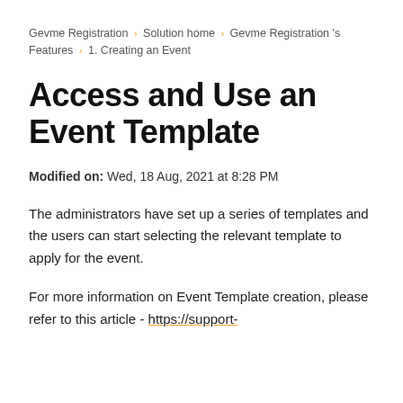Gevme Registration › Solution home › Gevme Registration 's Features › 1. Creating an Event
Access and Use an Event Template
Modified on: Wed, 18 Aug, 2021 at 8:28 PM
The administrators have set up a series of templates and the users can start selecting the relevant template to apply for the event.
For more information on Event Template creation, please refer to this article - https://support-